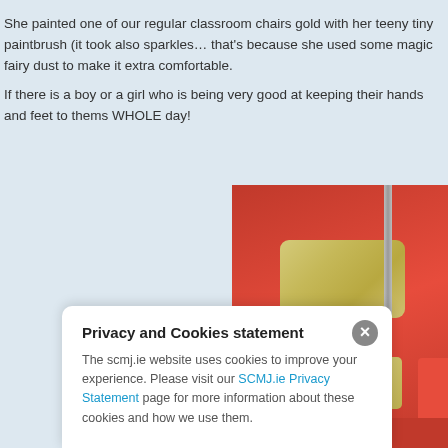She painted one of our regular classroom chairs gold with her teeny tiny paintbrush (it took also sparkles… that's because she used some magic fairy dust to make it extra comfortable. If there is a boy or a girl who is being very good at keeping their hands and feet to thems WHOLE day!
[Figure (photo): Close-up photograph of a classroom chair painted gold, set against a red background. The chair's backrest is a rectangular golden-painted piece, with a metal pole visible behind it.]
Privacy and Cookies statement
The scmj.ie website uses cookies to improve your experience. Please visit our SCMJ.ie Privacy Statement page for more information about these cookies and how we use them.